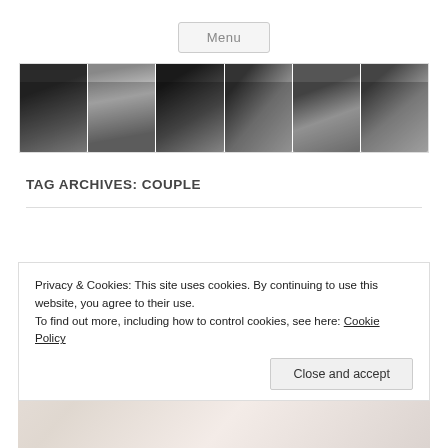Menu
[Figure (photo): A horizontal strip of six black-and-white portrait photographs of a young woman in various poses, wearing a black top, with long dark hair.]
TAG ARCHIVES: COUPLE
Privacy & Cookies: This site uses cookies. By continuing to use this website, you agree to their use.
To find out more, including how to control cookies, see here: Cookie Policy
Close and accept